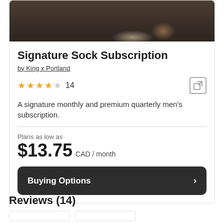[Figure (photo): Product photo showing shoes/boots on a dark wooden floor background]
Signature Sock Subscription
by King x Portland
★★★★☆ 14
A signature monthly and premium quarterly men's subscription.
Plans as low as
$13.75 CAD / month
Buying Options
Reviews (14)